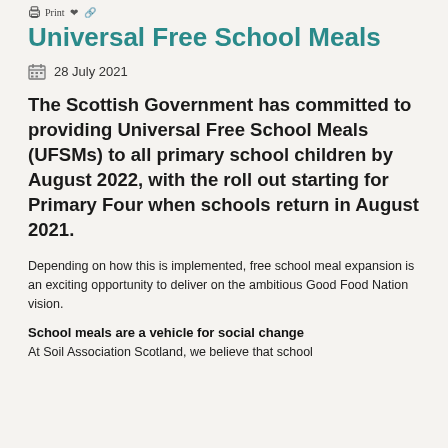Print
Universal Free School Meals
28 July 2021
The Scottish Government has committed to providing Universal Free School Meals (UFSMs) to all primary school children by August 2022, with the roll out starting for Primary Four when schools return in August 2021.
Depending on how this is implemented, free school meal expansion is an exciting opportunity to deliver on the ambitious Good Food Nation vision.
School meals are a vehicle for social change
At Soil Association Scotland, we believe that school